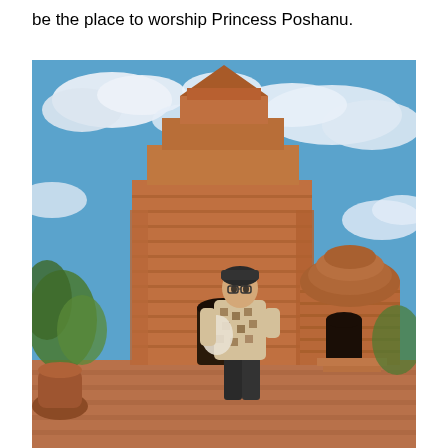be the place to worship Princess Poshanu.
[Figure (photo): A young man wearing a patterned short-sleeve shirt and dark cap stands in front of large ancient Cham brick towers (Po Shanu Cham Towers) under a bright blue sky with white clouds. The towers are made of reddish-brown brick. There is greenery and a large clay pot visible on the left side. The ground is paved with reddish bricks.]